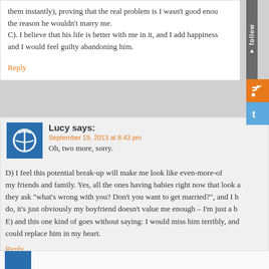them instantly), proving that the real problem is I wasn't good enough, and that was the reason he wouldn't marry me.
C). I believe that his life is better with me in it, and I add happiness to his life, and I would feel guilty abandoning him.
Reply
Lucy says:
September 19, 2013 at 8:43 pm
Oh, two more, sorry.
D) I feel this potential break-up will make me look like even-more-of-a-failure to my friends and family. Yes, all the ones having babies right now that look at me when they ask "what's wrong with you? Don't you want to get married?", and I have to say I do, it's just obviously my boyfriend doesn't value me enough – I'm just a b...
E) and this one kind of goes without saying: I would miss him terribly, and nothing could replace him in my heart.
Reply